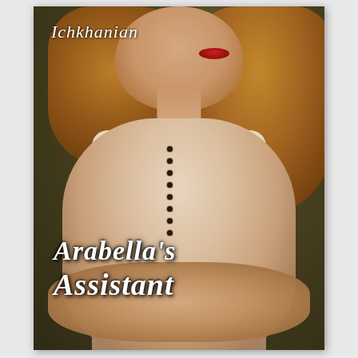[Figure (illustration): Book cover for 'Arabella's Assistant' by Ichkhanian. Features a woman with red lips, auburn/blonde wavy hair, wearing a cream blouse with black button and chain details. Background is dark olive/gold textured. Author name in white italic script at top left. Title 'Arabella's Assistant' in large white italic script at bottom.]